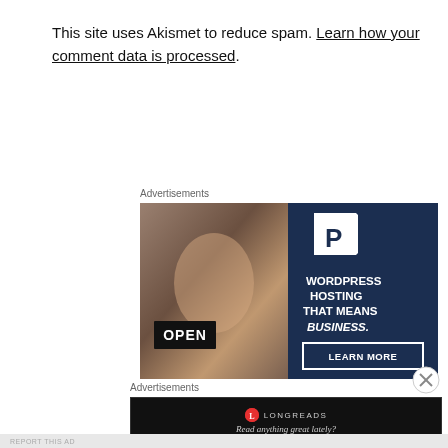This site uses Akismet to reduce spam. Learn how your comment data is processed.
Advertisements
[Figure (illustration): WordPress hosting advertisement banner. Left half shows a woman holding an OPEN sign in front of a shop. Right half has dark navy background with a P logo, text WORDPRESS HOSTING THAT MEANS BUSINESS. and a LEARN MORE button.]
Advertisements
[Figure (illustration): Longreads advertisement banner on black background with Longreads logo and text: Read anything great lately?]
REPORT THIS AD